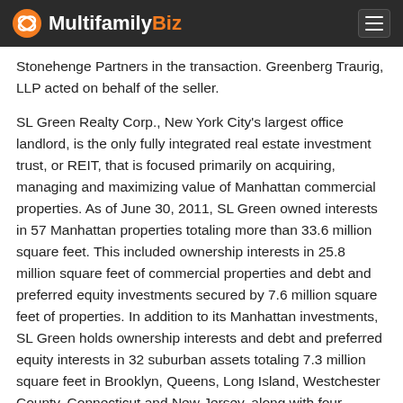MultifamilyBiz
Stonehenge Partners in the transaction. Greenberg Traurig, LLP acted on behalf of the seller.
SL Green Realty Corp., New York City's largest office landlord, is the only fully integrated real estate investment trust, or REIT, that is focused primarily on acquiring, managing and maximizing value of Manhattan commercial properties. As of June 30, 2011, SL Green owned interests in 57 Manhattan properties totaling more than 33.6 million square feet. This included ownership interests in 25.8 million square feet of commercial properties and debt and preferred equity investments secured by 7.6 million square feet of properties. In addition to its Manhattan investments, SL Green holds ownership interests and debt and preferred equity interests in 32 suburban assets totaling 7.3 million square feet in Brooklyn, Queens, Long Island, Westchester County, Connecticut and New Jersey, along with four development properties in the suburbs encompassing approximately 465,000 square feet.